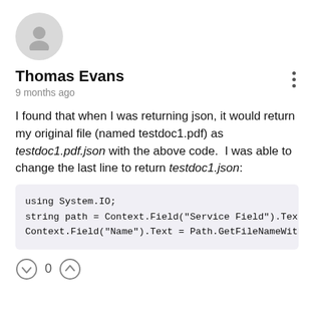[Figure (illustration): Circular avatar placeholder icon with grey background and white person silhouette]
Thomas Evans
9 months ago
I found that when I was returning json, it would return my original file (named testdoc1.pdf) as testdoc1.pdf.json with the above code.  I was able to change the last line to return testdoc1.json:
using System.IO;
string path = Context.Field("Service Field").Text;
Context.Field("Name").Text = Path.GetFileNameWithout